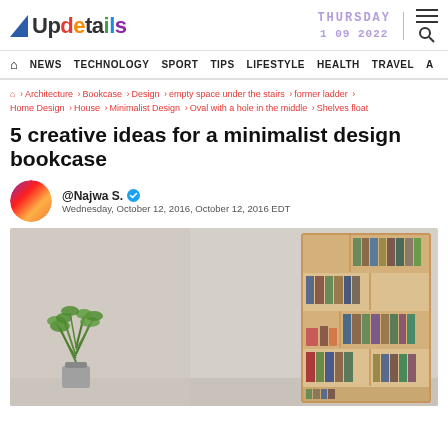Updetails | THURSDAY 1 09 2022
NEWS  TECHNOLOGY  SPORT  TIPS  LIFESTYLE  HEALTH  TRAVEL  A
🏠 › Architecture › Bookcase › Design › empty space under the stairs › former ladder › Home Design › House › Minimalist Design › Oval with a hole in the middle › Shelves float
5 creative ideas for a minimalist design bookcase
@Najwa S. ✓
Wednesday, October 12, 2016, October 12, 2016 EDT
[Figure (photo): A modern minimalist wooden bookcase filled with books and decorative items, placed against a light grey wall with a green potted plant in the foreground]